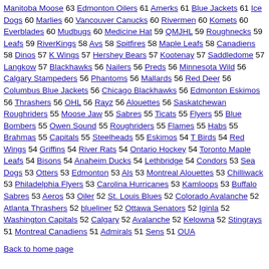Manitoba Moose 63 Edmonton Oilers 61 Amerks 61 Blue Jackets 61 Ice Dogs 60 Marlies 60 Vancouver Canucks 60 Rivermen 60 Komets 60 Everblades 60 Mudbugs 60 Medicine Hat 59 QMJHL 59 Roughnecks 59 Leafs 59 RiverKings 58 Avs 58 Spitfires 58 Maple Leafs 58 Canadiens 58 Dinos 57 K Wings 57 Hershey Bears 57 Kootenay 57 Saddledome 57 Langkow 57 Blackhawks 56 Nailers 56 Preds 56 Minnesota Wild 56 Calgary Stampeders 56 Phantoms 56 Mallards 56 Red Deer 56 Columbus Blue Jackets 56 Chicago Blackhawks 56 Edmonton Eskimos 56 Thrashers 56 OHL 56 Rayz 56 Alouettes 56 Saskatchewan Roughriders 55 Moose Jaw 55 Sabres 55 Ticats 55 Flyers 55 Blue Bombers 55 Owen Sound 55 Roughriders 55 Flames 55 Habs 55 Brahmas 55 Capitals 55 Steelheads 55 Eskimos 54 T Birds 54 Red Wings 54 Griffins 54 River Rats 54 Ontario Hockey 54 Toronto Maple Leafs 54 Bisons 54 Anaheim Ducks 54 Lethbridge 54 Condors 53 Sea Dogs 53 Otters 53 Edmonton 53 Als 53 Montreal Alouettes 53 Chilliwack 53 Philadelphia Flyers 53 Carolina Hurricanes 53 Kamloops 53 Buffalo Sabres 53 Aeros 53 Oiler 52 St. Louis Blues 52 Colorado Avalanche 52 Atlanta Thrashers 52 blueliner 52 Ottawa Senators 52 Iginla 52 Washington Capitals 52 Calgary 52 Avalanche 52 Kelowna 52 Stingrays 51 Montreal Canadiens 51 Admirals 51 Sens 51 OUA
Back to home page